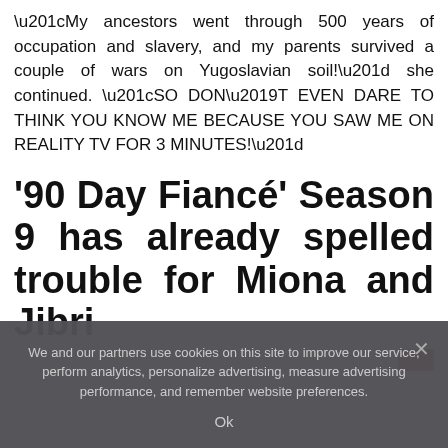“My ancestors went through 500 years of occupation and slavery, and my parents survived a couple of wars on Yugoslavian soil!” she continued. “SO DON’T EVEN DARE TO THINK YOU KNOW ME BECAUSE YOU SAW ME ON REALITY TV FOR 3 MINUTES!”
’90 Day Fiancé’ Season 9 has already spelled trouble for Miona and Jibri
We and our partners use cookies on this site to improve our service, perform analytics, personalize advertising, measure advertising performance, and remember website preferences.
Ok